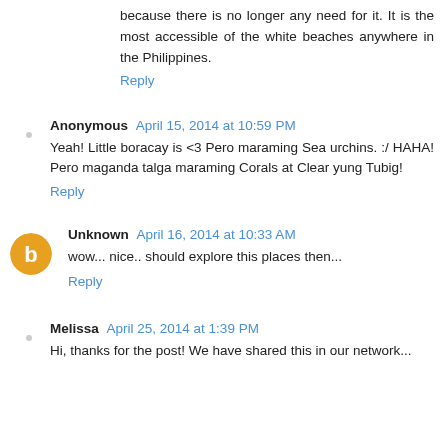because there is no longer any need for it. It is the most accessible of the white beaches anywhere in the Philippines.
Reply
Anonymous April 15, 2014 at 10:59 PM
Yeah! Little boracay is <3 Pero maraming Sea urchins. :/ HAHA! Pero maganda talga maraming Corals at Clear yung Tubig!
Reply
Unknown April 16, 2014 at 10:33 AM
wow... nice.. should explore this places then...
Reply
Melissa April 25, 2014 at 1:39 PM
Hi, thanks for the post! We have shared this in our network...